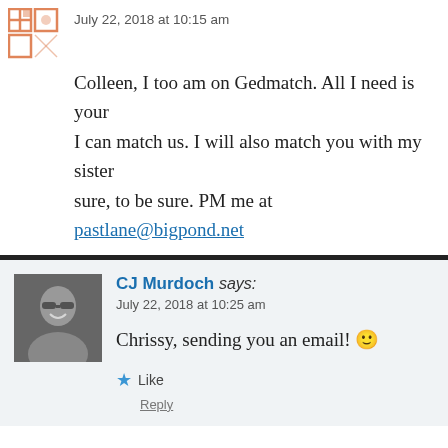July 22, 2018 at 10:15 am
Colleen, I too am on Gedmatch. All I need is your [kit number so] I can match us. I will also match you with my sister[…] sure, to be sure. PM me at pastlane@bigpond.net[…]
Like
Reply
CJ Murdoch says:
July 22, 2018 at 10:25 am
Chrissy, sending you an email! 🙂
Like
Reply